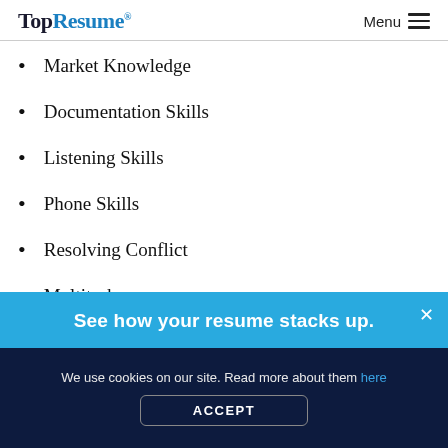TopResume® Menu
Market Knowledge
Documentation Skills
Listening Skills
Phone Skills
Resolving Conflict
Multitask
Patience
See how your resume stacks up.
We use cookies on our site. Read more about them here
ACCEPT